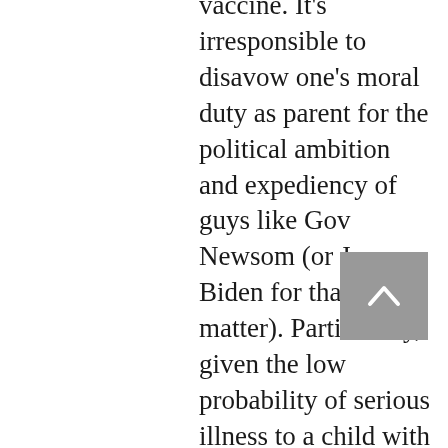vaccine. It's irresponsible to disavow one's moral duty as parent for the political ambition and expediency of guys like Gov Newsom (or Joe Biden for that matter). Particularly, given the low probability of serious illness to a child with Covid-19. If a parent carefully examines the available evidence regarding the vaccine and his child and has determined the risks outweigh the rewards, for now at least. What does that parent do?
So, like the movie Sophie's Choice it certainly appears government is forcing you to make a choice. This choice is not as overtly horrific as the movie but, is it? Imagine agreeing to this vaccine to just get your child back to school, but if the vaccine...